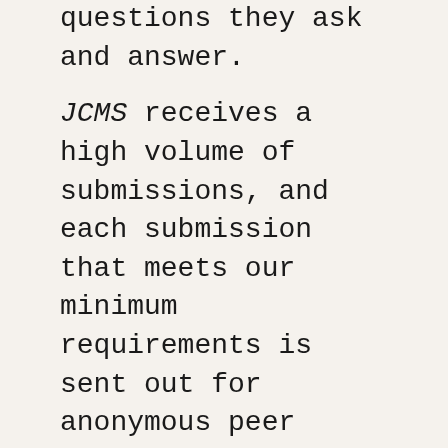questions they ask and answer.
JCMS receives a high volume of submissions, and each submission that meets our minimum requirements is sent out for anonymous peer review by experts in the relevant subfields. Unfortunately, we cannot accommodate requests to accelerate publication for job market or promotion cases. However, the editors are happy to write a letter for authors affirming that the article is accepted and is in queue or in press.
JCMS only accepts electronic submissions through our submissions portal. If for